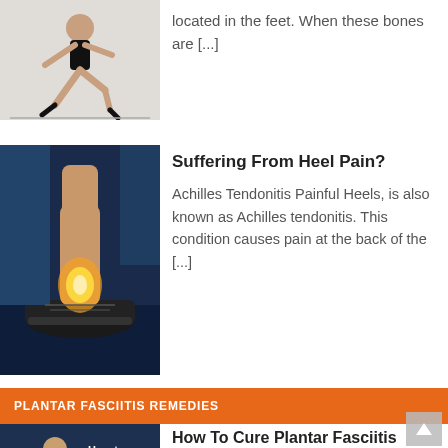[Figure (photo): Runner in starting position (partial, cropped at top)]
located in the feet. When these bones are [...]
[Figure (photo): Close-up of heel/ankle with glowing pain highlight on Achilles tendon area]
Suffering From Heel Pain?
Achilles Tendonitis Painful Heels, is also known as Achilles tendonitis. This condition causes pain at the back of the [...]
PLANTAR FASCIITIS REMEDIES
[Figure (photo): Video thumbnail showing man in gym with text 'How to PLANTAR FASCIITIS in 1 W']
How To Cure Plantar Fasciitis
What Is Plantar Fasciitis? This is the most common cause of heel pain for Americans. It is a form [...]